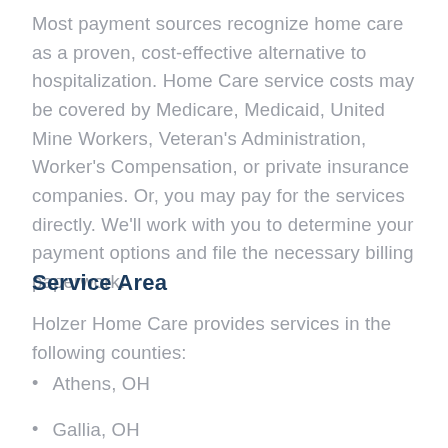Most payment sources recognize home care as a proven, cost-effective alternative to hospitalization. Home Care service costs may be covered by Medicare, Medicaid, United Mine Workers, Veteran's Administration, Worker's Compensation, or private insurance companies. Or, you may pay for the services directly. We'll work with you to determine your payment options and file the necessary billing paperwork.
Service Area
Holzer Home Care provides services in the following counties:
Athens, OH
Gallia, OH